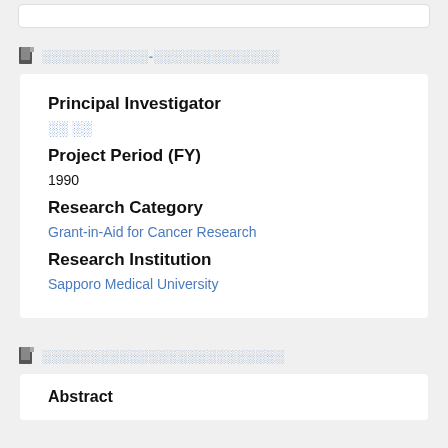░░░░░░░░░░░-░░░░░░░░░░░░
Principal Investigator
░░ ░░
Project Period (FY)
1990
Research Category
Grant-in-Aid for Cancer Research
Research Institution
Sapporo Medical University
░░░░░░░░░░░░░░░░░░░░░░░░